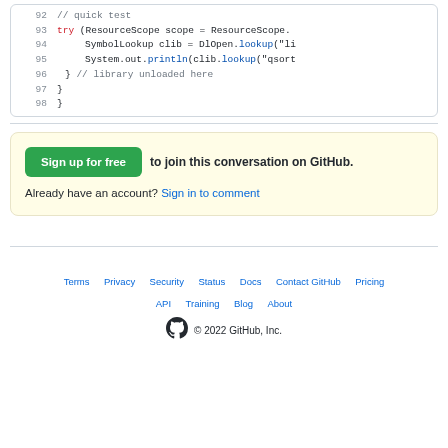Code snippet lines 92-98 showing Java try block with ResourceScope, SymbolLookup, DlOpen, and System.out.println
Sign up for free to join this conversation on GitHub. Already have an account? Sign in to comment
Terms  Privacy  Security  Status  Docs  Contact GitHub  Pricing  API  Training  Blog  About  © 2022 GitHub, Inc.